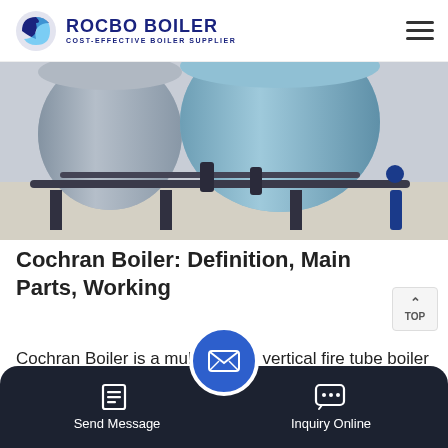ROCBO BOILER - COST-EFFECTIVE BOILER SUPPLIER
[Figure (photo): Industrial boiler equipment — large cylindrical blue/grey boilers with horizontal pipes and fittings on a factory floor]
Cochran Boiler: Definition, Main Parts, Working
Cochran Boiler is a multi-tubular vertical fire tube boiler having a number of horizontal fire tubes. It is the modification of a simple vertical boiler where the heating surface has been increased by tubes efficien...
Send Message | Inquiry Online